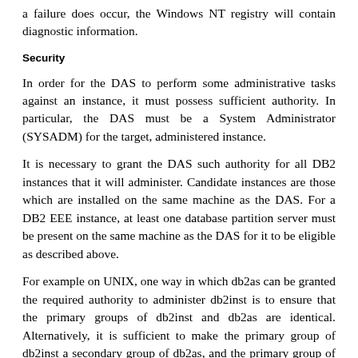a failure does occur, the Windows NT registry will contain diagnostic information.
Security
In order for the DAS to perform some administrative tasks against an instance, it must possess sufficient authority. In particular, the DAS must be a System Administrator (SYSADM) for the target, administered instance.
It is necessary to grant the DAS such authority for all DB2 instances that it will administer. Candidate instances are those which are installed on the same machine as the DAS. For a DB2 EEE instance, at least one database partition server must be present on the same machine as the DAS for it to be eligible as described above.
For example on UNIX, one way in which db2as can be granted the required authority to administer db2inst is to ensure that the primary groups of db2inst and db2as are identical. Alternatively, it is sufficient to make the primary group of db2inst a secondary group of db2as, and the primary group of db2as a secondary group of db2inst. Finally, another option would be to set the SYSADM_GROUP database administration configuration parameter for db2inst to the primary group of db2as.